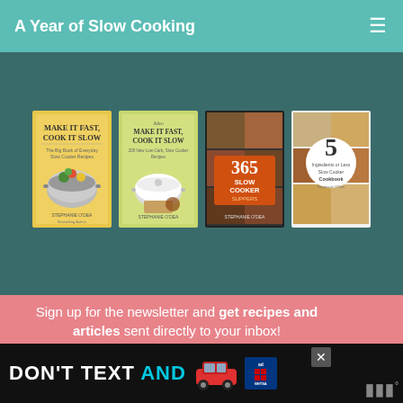A Year of Slow Cooking
[Figure (photo): Four slow cooker cookbook covers displayed side by side: 'Make It Fast, Cook It Slow', 'Also Make It Fast, Cook It Slow', '365 Slow Cooker Suppers', and '5 Ingredients or Less Slow Cooker Cookbook']
Sign up for the newsletter and get recipes and articles sent directly to your inbox!
Name
Email
Sign Up
[Figure (screenshot): What's Next panel showing CrockPot Corn Bread Recipe with thumbnail image]
[Figure (photo): Ad banner: DON'T TEXT AND (drive) with car graphic and NHTSA logo]